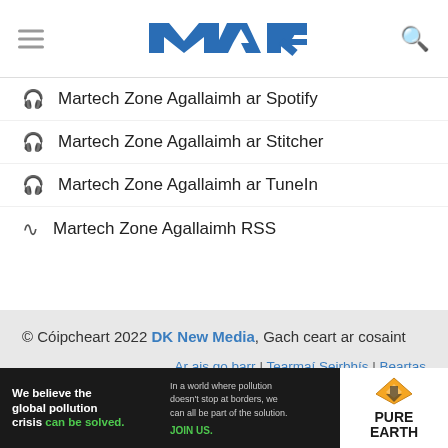Martech Zone logo header with hamburger menu and search icon
🎧 Martech Zone Agallaimh ar Spotify
🎧 Martech Zone Agallaimh ar Stitcher
🎧 Martech Zone Agallaimh ar TuneIn
📶 Martech Zone Agallaimh RSS
© Cóipcheart 2022 DK New Media, Gach ceart ar cosaint
Ar ais go barr | Tearmaí Seirbhís | Beartas Príobháideachais | Nochtadh
fógraí
[Figure (photo): Pure Earth advertisement banner: 'We believe the global pollution crisis can be solved.' with Pure Earth logo]